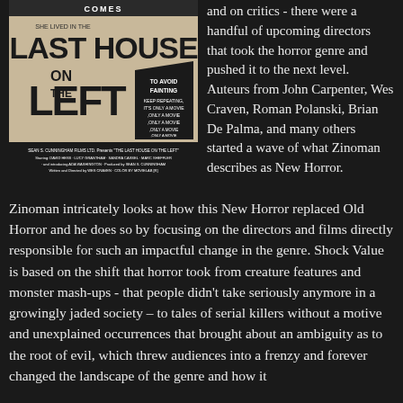[Figure (photo): Movie poster for 'Last House on the Left' showing title text, tagline 'To Avoid Fainting Keep Repeating, It's Only A Movie', and cast/crew credits]
and on critics - there were a handful of upcoming directors that took the horror genre and pushed it to the next level. Auteurs from John Carpenter, Wes Craven, Roman Polanski, Brian De Palma, and many others started a wave of what Zinoman describes as New Horror.
Zinoman intricately looks at how this New Horror replaced Old Horror and he does so by focusing on the directors and films directly responsible for such an impactful change in the genre. Shock Value is based on the shift that horror took from creature features and monster mash-ups - that people didn't take seriously anymore in a growingly jaded society – to tales of serial killers without a motive and unexplained occurrences that brought about an ambiguity as to the root of evil, which threw audiences into a frenzy and forever changed the landscape of the genre and how it